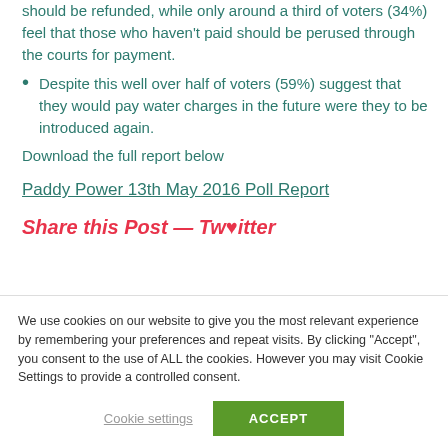should be refunded, while only around a third of voters (34%) feel that those who haven't paid should be perused through the courts for payment.
Despite this well over half of voters (59%) suggest that they would pay water charges in the future were they to be introduced again.
Download the full report below
Paddy Power 13th May 2016 Poll Report
Share this Post — Twitter (partial, cut off)
We use cookies on our website to give you the most relevant experience by remembering your preferences and repeat visits. By clicking "Accept", you consent to the use of ALL the cookies. However you may visit Cookie Settings to provide a controlled consent.